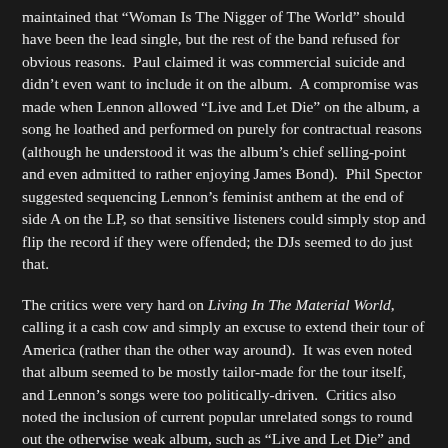maintained that “Woman Is The Nigger of The World” should have been the lead single, but the rest of the band refused for obvious reasons.  Paul claimed it was commercial suicide and didn’t even want to include it on the album.  A compromise was made when Lennon allowed “Live and Let Die” on the album, a song he loathed and performed on purely for contractual reasons (although he understood it was the album’s chief selling-point and even admitted to rather enjoying James Bond).  Phil Spector suggested sequencing Lennon’s feminist anthem at the end of side A on the LP, so that sensitive listeners could simply stop and flip the record if they were offended; the DJs seemed to do just that.
The critics were very hard on Living In The Material World, calling it a cash cow and simply an excuse to extend their tour of America (rather than the other way around).  It was even noted that album seemed to be mostly tailor-made for the tour itself, and Lennon’s songs were too politically-driven.  Critics also noted the inclusion of current popular unrelated songs to round out the otherwise weak album, such as “Live and Let Die” and their December 1971 single “Merry Xmas (War is Over)” b/w the non-album b-side “C Moon”.  Rolling Stone even dubbed the album “Filler In The Material World” yet at least commended the band